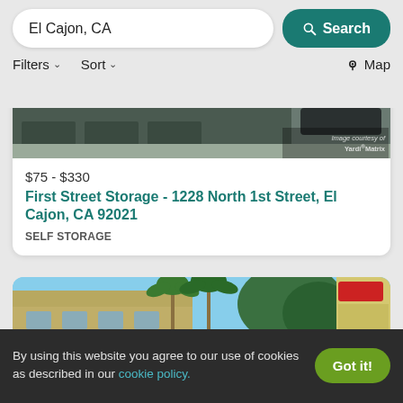El Cajon, CA — Search | Filters | Sort | Map
[Figure (photo): Partial image of storage facility exterior showing '25 - 200 Sq. Ft.' label and Yardi Matrix credit]
$75 - $330
First Street Storage - 1228 North 1st Street, El Cajon, CA 92021
SELF STORAGE
[Figure (photo): Exterior photo of a building with palm trees and blue sky]
By using this website you agree to our use of cookies as described in our cookie policy.